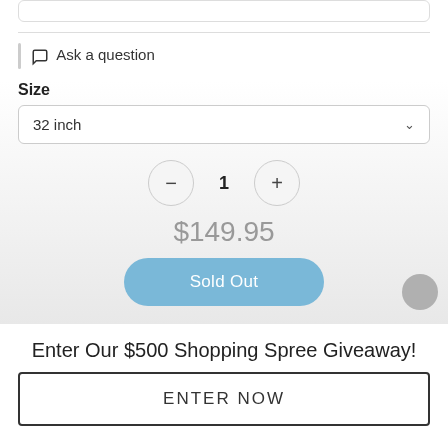[Figure (screenshot): Top white rounded box (partial UI element at top of page)]
Ask a question
Size
32 inch
1
$149.95
Sold Out
Enter Our $500 Shopping Spree Giveaway!
ENTER NOW